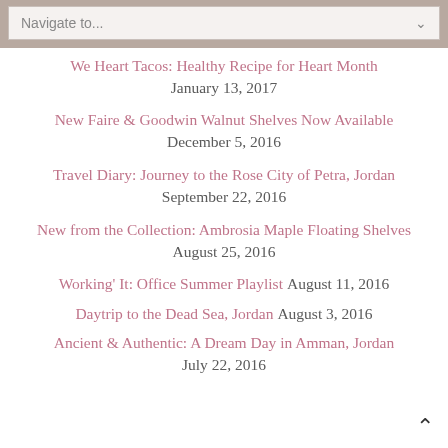Navigate to...
We Heart Tacos: Healthy Recipe for Heart Month — January 13, 2017
New Faire & Goodwin Walnut Shelves Now Available — December 5, 2016
Travel Diary: Journey to the Rose City of Petra, Jordan — September 22, 2016
New from the Collection: Ambrosia Maple Floating Shelves August 25, 2016
Working' It: Office Summer Playlist August 11, 2016
Daytrip to the Dead Sea, Jordan August 3, 2016
Ancient & Authentic: A Dream Day in Amman, Jordan — July 22, 2016